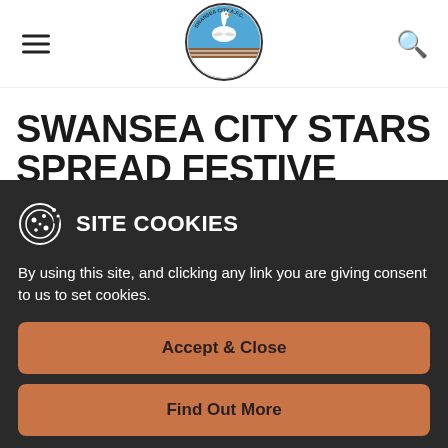[Figure (logo): Swansea City AFC circular club crest logo with swan and blue/white colors]
SWANSEA CITY STARS SPREAD FESTIVE CHEER WITH KIDS'
SITE COOKIES
By using this site, and clicking any link you are giving consent to us to set cookies.
Accept & Close
Find Out More